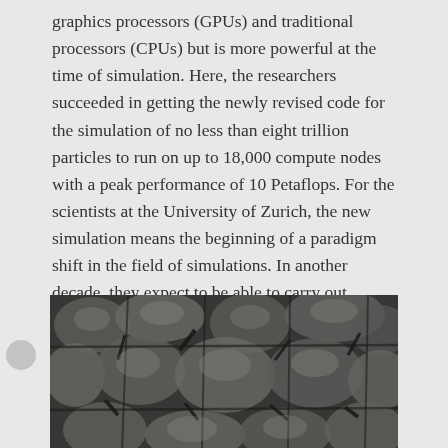graphics processors (GPUs) and traditional processors (CPUs) but is more powerful at the time of simulation. Here, the researchers succeeded in getting the newly revised code for the simulation of no less than eight trillion particles to run on up to 18,000 compute nodes with a peak performance of 10 Petaflops. For the scientists at the University of Zurich, the new simulation means the beginning of a paradigm shift in the field of simulations. In another decade, they expect to be able to carry out simulations like this in eight hours or less instead of in 80. It will then no longer be possible to store data and process it later. Stadel and his colleagues believe that analysis instruments would have to practically be installed in the code and used on the fly.
[Figure (photo): Simulation image showing a cosmic web or particle simulation rendered in grayscale, with interconnected filamentary structures forming a complex network pattern resembling a cosmic large-scale structure.]